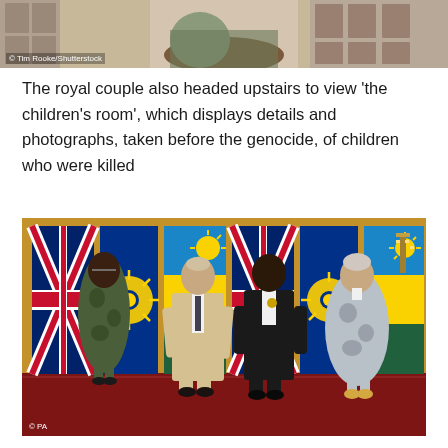[Figure (photo): Partial view of a room with photographs on the wall and a person visible, cropped at top of page]
© Tim Rooke/Shutterstock
The royal couple also headed upstairs to view 'the children's room', which displays details and photographs, taken before the genocide, of children who were killed
[Figure (photo): Four people standing in front of flags including UK Union Jack, Rwanda flag, and Commonwealth flag. Prince Charles in beige suit, Camilla in patterned dress, and two other individuals, posing formally on a red carpet.]
© PA